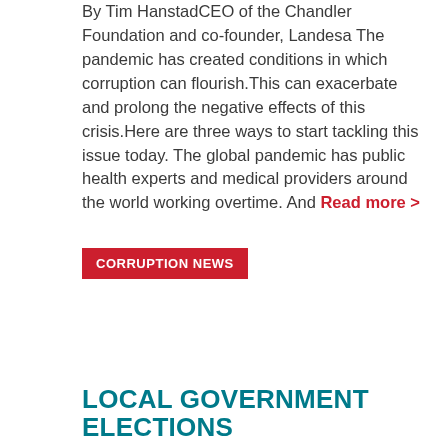By Tim HanstadCEO of the Chandler Foundation and co-founder, Landesa The pandemic has created conditions in which corruption can flourish.This can exacerbate and prolong the negative effects of this crisis.Here are three ways to start tackling this issue today. The global pandemic has public health experts and medical providers around the world working overtime. And Read more >
CORRUPTION NEWS
LOCAL GOVERNMENT ELECTIONS